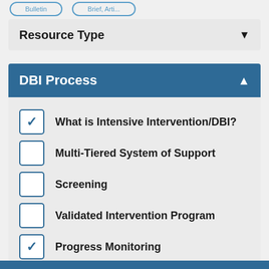Resource Type
DBI Process
What is Intensive Intervention/DBI? [checked]
Multi-Tiered System of Support [unchecked]
Screening [unchecked]
Validated Intervention Program [unchecked]
Progress Monitoring [checked]